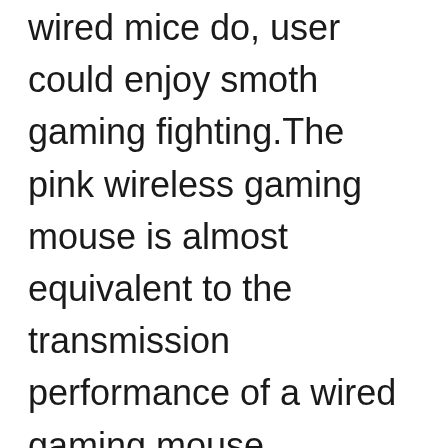wired mice do, user could enjoy smoth gaming fighting.The pink wireless gaming mouse is almost equivalent to the transmission performance of a wired gaming mouse.
🔋Long Use Time🔋The pink wireless mouse has a built-in 950mAh rechargeable battery. The rechargeable gaming mouse features a battery life up to 40 hours(lights on),up to 55 hours(lights off)on a single charge. You can charge the gaming mouse wireless with the charging cable